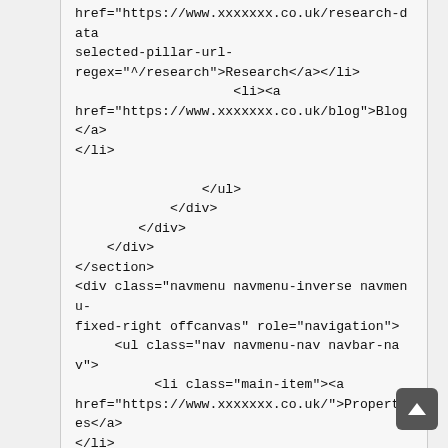href="https://www.xxxxxxx.co.uk/research-data-selected-pillar-url-regex="^/research">Research</a></li>
                    <li><a
href="https://www.xxxxxxx.co.uk/blog">Blog</a>
</li>

                </ul>
            </div>
        </div>
    </div>
</section>
<div class="navmenu navmenu-inverse navmenu-fixed-right offcanvas" role="navigation">
     <ul class="nav navmenu-nav navbar-nav">
          <li class="main-item"><a
href="https://www.xxxxxxx.co.uk/">Properties</a>
</li>
          <li class="main-item"><a
href="https://www.xxxxxxx.co.uk/contact">People /
Offices</a></li>
          <li class="main-item"><a
href="https://www.xxxxxxx.co.uk/property-services">Services</a></li>